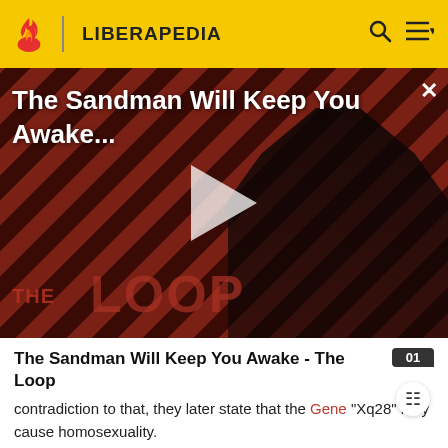LIBERAPEDIA
[Figure (screenshot): Video thumbnail for 'The Sandman Will Keep You Awake...' showing a dark-cloaked figure against a red diagonal striped background with THE LOOP logo overlaid and a white play button in the center]
The Sandman Will Keep You Awake - The Loop
contradiction to that, they later state that the Gene "Xq28" may cause homosexuality.
The Internet has recently been used for racist purposes.